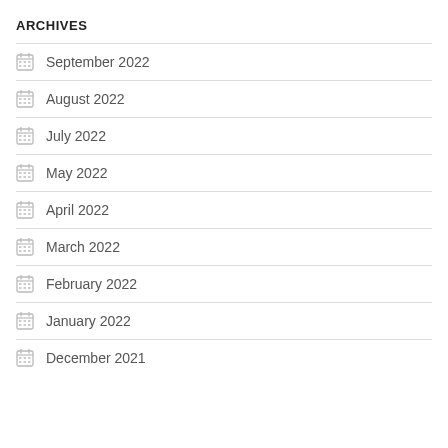ARCHIVES
September 2022
August 2022
July 2022
May 2022
April 2022
March 2022
February 2022
January 2022
December 2021